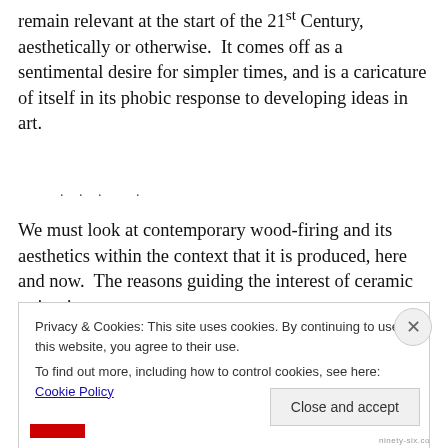remain relevant at the start of the 21st Century, aesthetically or otherwise.  It comes off as a sentimental desire for simpler times, and is a caricature of itself in its phobic response to developing ideas in art.
We must look at contemporary wood-firing and its aesthetics within the context that it is produced, here and now.  The reasons guiding the interest of ceramic artists in
Privacy & Cookies: This site uses cookies. By continuing to use this website, you agree to their use.
To find out more, including how to control cookies, see here: Cookie Policy
Close and accept
ninety-six.co